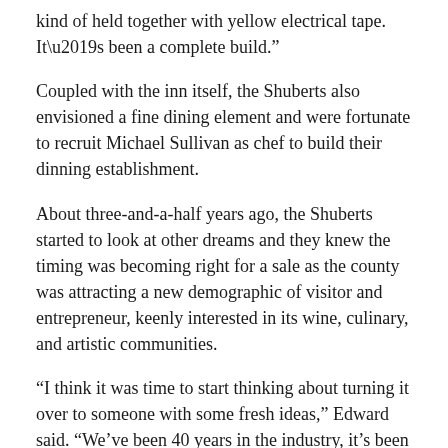kind of held together with yellow electrical tape. It’s been a complete build.”
Coupled with the inn itself, the Shuberts also envisioned a fine dining element and were fortunate to recruit Michael Sullivan as chef to build their dinning establishment.
About three-and-a-half years ago, the Shuberts started to look at other dreams and they knew the timing was becoming right for a sale as the county was attracting a new demographic of visitor and entrepreneur, keenly interested in its wine, culinary, and artistic communities.
“I think it was time to start thinking about turning it over to someone with some fresh ideas,” Edward said. “We’ve been 40 years in the industry, it’s been a great career, and I think we’re at the point where we’d like to take it easy a bit.
“We’re not going anywhere — we love the county, this